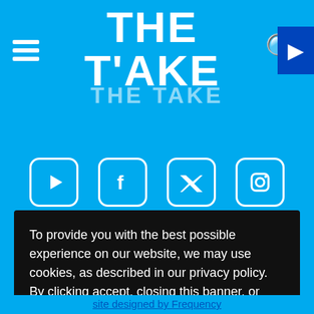THE TAKE
[Figure (logo): THE TAKE logo repeated in lighter opacity below main logo]
[Figure (illustration): Social media icons: YouTube, Facebook, Twitter, Instagram in white rounded square boxes]
To provide you with the best possible experience on our website, we may use cookies, as described in our privacy policy. By clicking accept, closing this banner, or continuing to browse our website, you consent to the use of such cookies.
View our privacy policy
Accept and close
site designed by Frequency